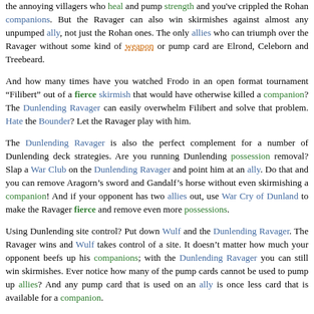Teaming the Dunlending Ravager with the Dunlending Warrior is a good counter for anyone who winds up facing Rohan Fellowships day in and day out. Kill off the annoying villagers who heal and pump strength and you've crippled the Rohan companions. But the Ravager can also win skirmishes against almost any unpumped ally, not just the Rohan ones. The only allies who can triumph over the Ravager without some kind of weapon or pump card are Elrond, Celeborn and Treebeard.
And how many times have you watched Frodo in an open format tournament “Filibert” out of a fierce skirmish that would have otherwise killed a companion? The Dunlending Ravager can easily overwhelm Filibert and solve that problem. Hate the Bounder? Let the Ravager play with him.
The Dunlending Ravager is also the perfect complement for a number of Dunlending deck strategies. Are you running Dunlending possession removal? Slap a War Club on the Dunlending Ravager and point him at an ally. Do that and you can remove Aragorn’s sword and Gandalf’s horse without even skirmishing a companion! And if your opponent has two allies out, use War Cry of Dunland to make the Ravager fierce and remove even more possessions.
Using Dunlending site control? Put down Wulf and the Dunlending Ravager. The Ravager wins and Wulf takes control of a site. It doesn’t matter how much your opponent beefs up his companions; with the Dunlending Ravager you can still win skirmishes. Ever notice how many of the pump cards cannot be used to pump up allies? And any pump card that is used on an ally is once less card that is available for a companion.